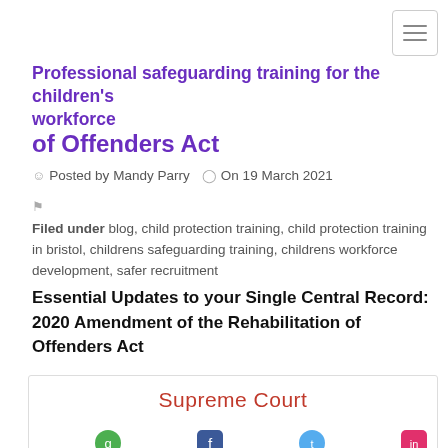[Figure (other): Hamburger menu icon button in top right corner]
Professional safeguarding training for the children's workforce
of Offenders Act
Posted by Mandy Parry  On 19 March 2021
Filed under blog, child protection training, child protection training in bristol, childrens safeguarding training, childrens workforce development, safer recruitment
Essential Updates to your Single Central Record: 2020 Amendment of the Rehabilitation of Offenders Act
[Figure (other): Image showing 'Supreme Court' text in red with social media icon row at bottom]